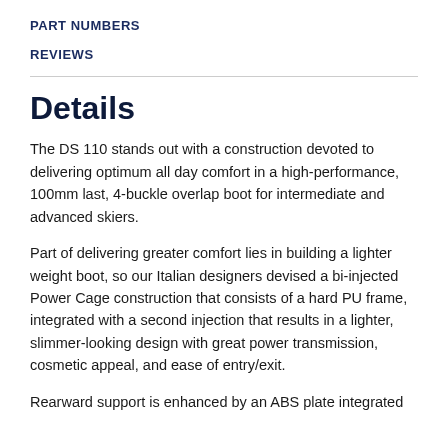PART NUMBERS
REVIEWS
Details
The DS 110 stands out with a construction devoted to delivering optimum all day comfort in a high-performance, 100mm last, 4-buckle overlap boot for intermediate and advanced skiers.
Part of delivering greater comfort lies in building a lighter weight boot, so our Italian designers devised a bi-injected Power Cage construction that consists of a hard PU frame, integrated with a second injection that results in a lighter, slimmer-looking design with great power transmission, cosmetic appeal, and ease of entry/exit.
Rearward support is enhanced by an ABS plate integrated